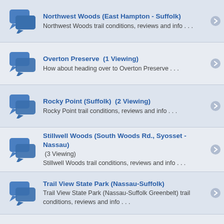Northwest Woods (East Hampton - Suffolk) — Northwest Woods trail conditions, reviews and info . . .
Overton Preserve (1 Viewing) — How about heading over to Overton Preserve . . .
Rocky Point (Suffolk) (2 Viewing) — Rocky Point trail conditions, reviews and info . . .
Stillwell Woods (South Woods Rd., Syosset - Nassau) (3 Viewing) — Stillwell Woods trail conditions, reviews and info . . .
Trail View State Park (Nassau-Suffolk) — Trail View State Park (Nassau-Suffolk Greenbelt) trail conditions, reviews and info . . .
Other Trails — Explore trails located on and off the Island . . .
Mountain Biking Categories
Cross Country-XC (2 Viewing) — Forest Paths, Singletrack, & Fire Roads . . .